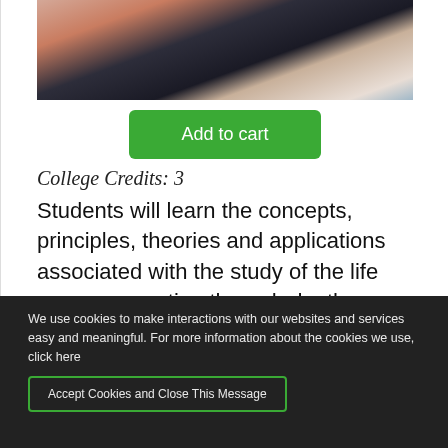[Figure (photo): Photo of a person writing on a clipboard or tablet, seated on a couch. Shows hands with red nail polish holding a pen, dark clothing, and a light background.]
Add to cart
College Credits: 3
Students will learn the concepts, principles, theories and applications associated with the study of the life span, conception through death. Emphasis areas
We use cookies to make interactions with our websites and services easy and meaningful. For more information about the cookies we use, click here
Accept Cookies and Close This Message